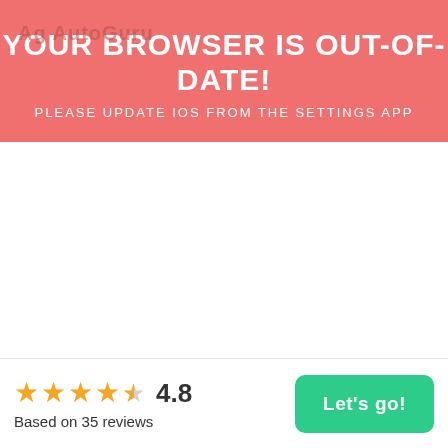YOUR BROWSER IS OUT-OF-DATE!
PLEASE UPDATE IOS FROM THE SETTINGS APP
4.8
Based on 35 reviews
Let's go!